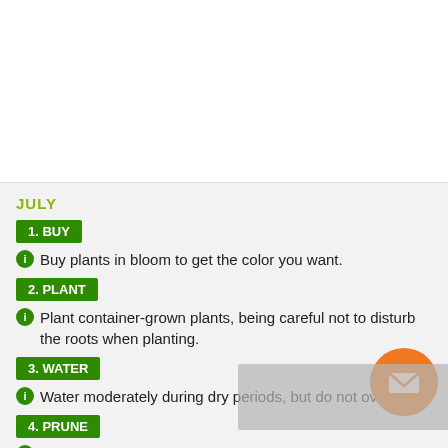JULY
1. BUY
Buy plants in bloom to get the color you want.
2. PLANT
Plant container-grown plants, being careful not to disturb the roots when planting.
3. WATER
Water moderately during dry periods, but do not overwater.
4. PRUNE
Prune to shape if necessary.